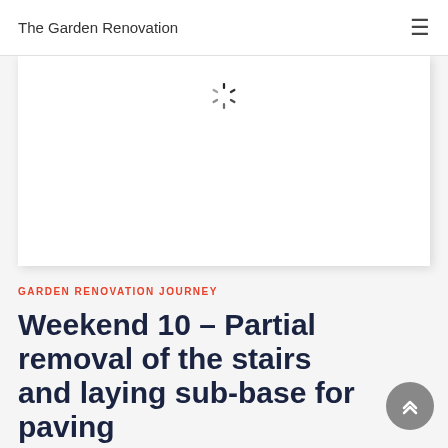The Garden Renovation
[Figure (photo): Image placeholder with loading spinner (white rectangle with box shadow, spinning loader icon at top center)]
GARDEN RENOVATION JOURNEY
Weekend 10 – Partial removal of the stairs and laying sub-base for paving